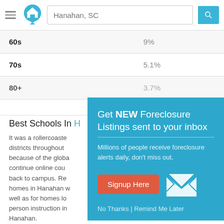[Figure (screenshot): Website header with hamburger menu, house logo, search bar showing 'Hanahan, SC', and a teal search button with magnifying glass icon]
| 60s | 9% |
| 70s | 5.1% |
| 80+ | 3.7% |
Best Schools In Hanahan
It was a rollercoaster year for school districts throughout the country, because of the global pandemic, to continue online courses or to come back to campus. Regardless of the homes in Hanahan who values ... as well as for homes located ... in-person instruction in Hanahan.
[Figure (infographic): Modal popup with teal background: 'Get NEW Foreclosure Listings sent to your inbox'. Shows envelope icon, Signup Here button, No Thanks | Remind Me Later links.]